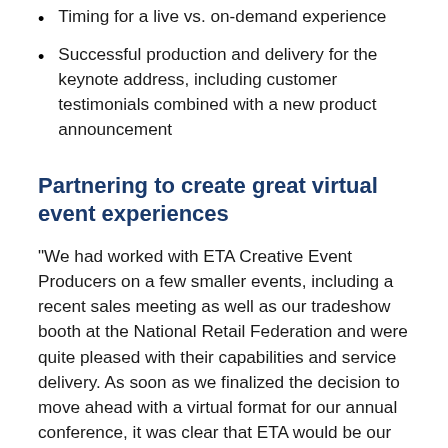Timing for a live vs. on-demand experience
Successful production and delivery for the keynote address, including customer testimonials combined with a new product announcement
Partnering to create great virtual event experiences
“We had worked with ETA Creative Event Producers on a few smaller events, including a recent sales meeting as well as our tradeshow booth at the National Retail Federation and were quite pleased with their capabilities and service delivery. As soon as we finalized the decision to move ahead with a virtual format for our annual conference, it was clear that ETA would be our vendor of choice for the project.” said Tammy Boucher Senior Director, Customer & Partner Marketing and Events.